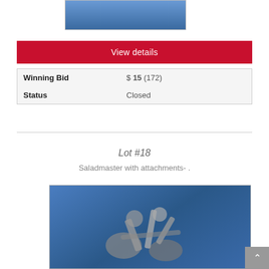[Figure (photo): Partial image of an item on blue background, cropped at top of page]
View details
| Winning Bid | $ 15 (172) |
| Status | Closed |
Lot #18
Saladmaster with attachments- .
[Figure (photo): Photo of a Saladmaster food processor/grinder with attachments on a blue background]